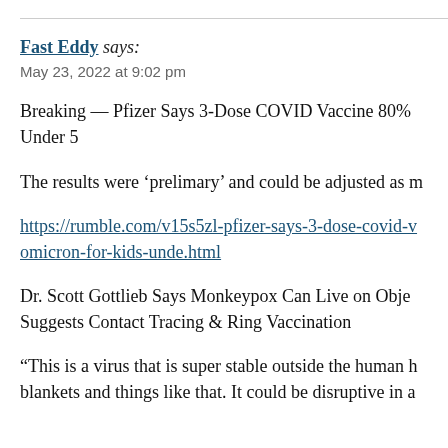Fast Eddy says:
May 23, 2022 at 9:02 pm
Breaking — Pfizer Says 3-Dose COVID Vaccine 80% Under 5
The results were ‘prelimary’ and could be adjusted as m
https://rumble.com/v15s5zl-pfizer-says-3-dose-covid-v omicron-for-kids-unde.html
Dr. Scott Gottlieb Says Monkeypox Can Live on Objec Suggests Contact Tracing & Ring Vaccination
“This is a virus that is super stable outside the human h blankets and things like that. It could be disruptive in a